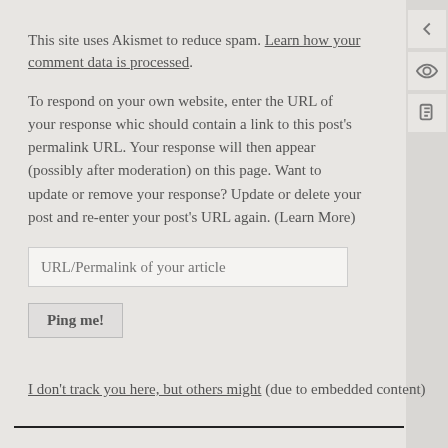This site uses Akismet to reduce spam. Learn how your comment data is processed.
To respond on your own website, enter the URL of your response which should contain a link to this post's permalink URL. Your response will then appear (possibly after moderation) on this page. Want to update or remove your response? Update or delete your post and re-enter your post's URL again. (Learn More)
URL/Permalink of your article
Ping me!
I don't track you here, but others might (due to embedded content)